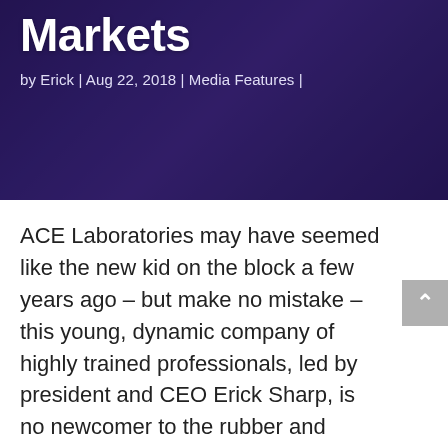Markets
by Erick | Aug 22, 2018 | Media Features |
ACE Laboratories may have seemed like the new kid on the block a few years ago – but make no mistake – this young, dynamic company of highly trained professionals, led by president and CEO Erick Sharp, is no newcomer to the rubber and silicone testing and R&D